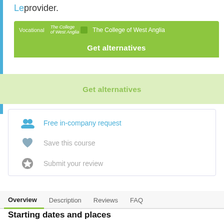Le provider.
[Figure (screenshot): Green button with college logo and text 'The College of West Anglia' and 'Get alternatives']
Get alternatives
Free in-company request
Save this course
Submit your review
Overview  Description  Reviews  FAQ
Starting dates and places